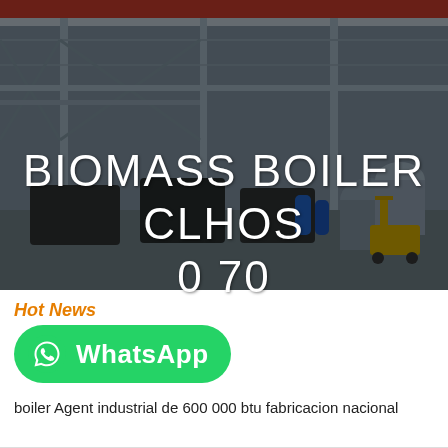[Figure (photo): Industrial factory floor with large boilers and heavy machinery under a steel-framed warehouse structure. Dark overlay applied. Text overlay reads 'BIOMASS BOILER CLHOS 0 70'.]
BIOMASS BOILER CLHOS 0 70
Hot News
[Figure (logo): WhatsApp button - green rounded rectangle with WhatsApp phone icon and text 'WhatsApp']
boiler Agent industrial de 600 000 btu fabricacion nacional